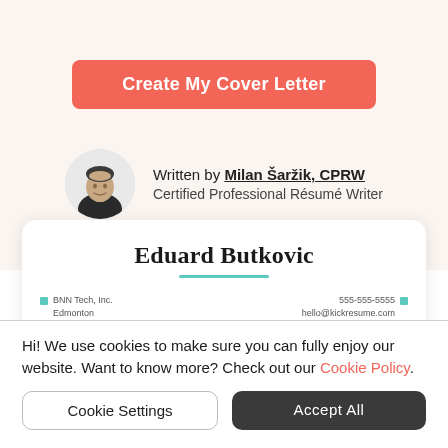[Figure (other): Button: Create My Cover Letter (salmon/red background, white text, rounded rectangle)]
Written by Milan Šaržik, CPRW
Certified Professional Résumé Writer
[Figure (photo): Circular avatar photo of a young man in a black shirt, smiling, grayscale tones]
Eduard Butkovic
BNN Tech, Inc.
Edmonton
555-555-5555
hello@kickresume.com
Hi! We use cookies to make sure you can fully enjoy our website. Want to know more? Check out our Cookie Policy.
[Figure (other): Button: Cookie Settings (white background, gray border, rounded rectangle)]
[Figure (other): Button: Accept All (dark gray background, white text, rounded rectangle)]